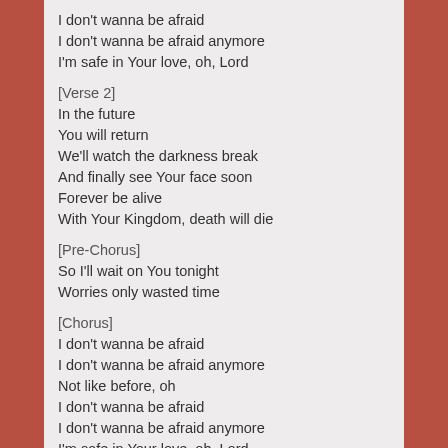I don't wanna be afraid
I don't wanna be afraid anymore
I'm safe in Your love, oh, Lord
[Verse 2]
In the future
You will return
We'll watch the darkness break
And finally see Your face soon
Forever be alive
With Your Kingdom, death will die
[Pre-Chorus]
So I'll wait on You tonight
Worries only wasted time
[Chorus]
I don't wanna be afraid
I don't wanna be afraid anymore
Not like before, oh
I don't wanna be afraid
I don't wanna be afraid anymore
I'm safe in Your love, oh, Lord
[Bridge]